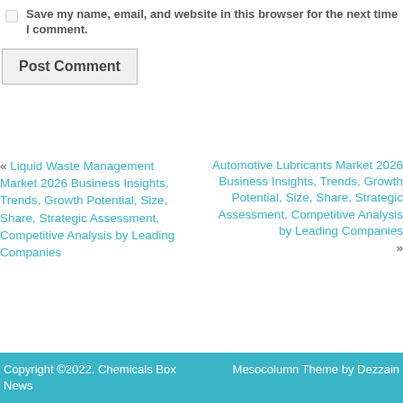Save my name, email, and website in this browser for the next time I comment.
Post Comment
« Liquid Waste Management Market 2026 Business Insights, Trends, Growth Potential, Size, Share, Strategic Assessment, Competitive Analysis by Leading Companies
Automotive Lubricants Market 2026 Business Insights, Trends, Growth Potential, Size, Share, Strategic Assessment, Competitive Analysis by Leading Companies »
Copyright ©2022. Chemicals Box News    Mesocolumn Theme by Dezzain